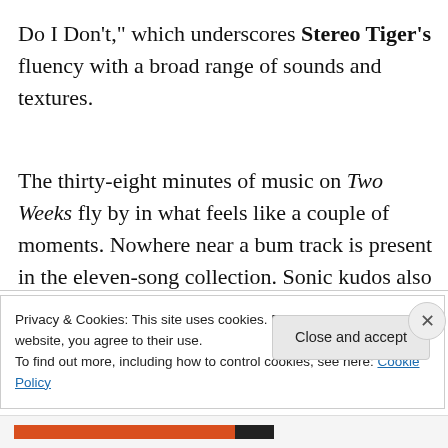Do I Don't," which underscores Stereo Tiger's fluency with a broad range of sounds and textures.
The thirty-eight minutes of music on Two Weeks fly by in what feels like a couple of moments. Nowhere near a bum track is present in the eleven-song collection. Sonic kudos also are in order for Andy Reed and Glenn Brown, who recorded and mastered Two Weeks, respectively. Not only
Privacy & Cookies: This site uses cookies. By continuing to use this website, you agree to their use.
To find out more, including how to control cookies, see here: Cookie Policy
Close and accept